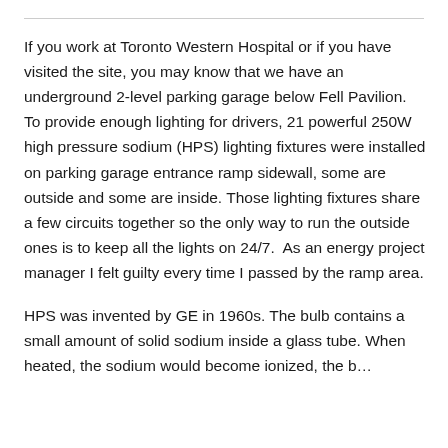If you work at Toronto Western Hospital or if you have visited the site, you may know that we have an underground 2-level parking garage below Fell Pavilion.  To provide enough lighting for drivers, 21 powerful 250W high pressure sodium (HPS) lighting fixtures were installed on parking garage entrance ramp sidewall, some are outside and some are inside.  Those lighting fixtures share a few circuits together so the only way to run the outside ones is to keep all the lights on 24/7.  As an energy project manager I felt guilty every time I passed by the ramp area.
HPS was invented by GE in 1960s. The bulb contains a small amount of solid sodium inside a glass tube. When heated, the sodium would become ionized, the b...